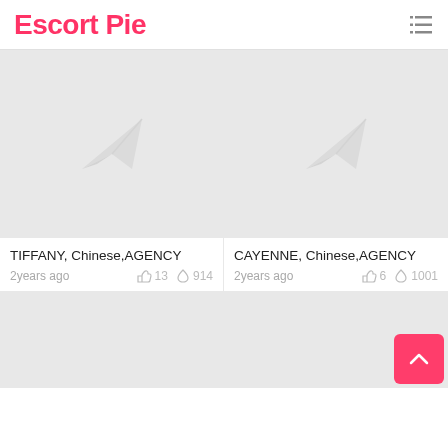Escort Pie
[Figure (screenshot): Placeholder image card with paper plane icon for TIFFANY listing]
TIFFANY, Chinese,AGENCY
2years ago   👍 13  🔥 914
[Figure (screenshot): Placeholder image card with paper plane icon for CAYENNE listing]
CAYENNE, Chinese,AGENCY
2years ago   👍 6  🔥 1001
[Figure (screenshot): Placeholder image card bottom left]
[Figure (screenshot): Placeholder image card bottom right]